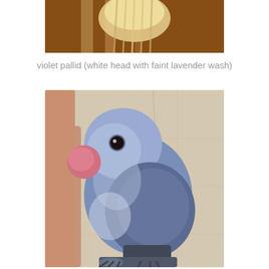[Figure (photo): Partial view of a parrot with yellow/blonde feathers visible at top, brown wooden background.]
violet pallid (white head with faint lavender wash)
[Figure (photo): A blue-lavender parrot (Pacific Parrotlet or similar small parrot) with a pink beak, perched on a hand or perch against a beige tiled wall background. The bird has a predominantly blue-grey body with a lighter bluish-white head area and dark flight feathers.]